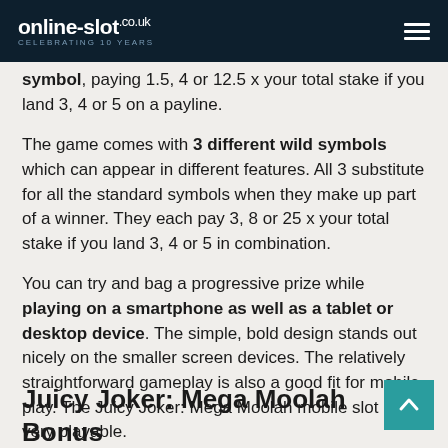online-slot.co.uk — CELEBRATING 10 YEARS
symbol, paying 1.5, 4 or 12.5 x your total stake if you land 3, 4 or 5 on a payline.
The game comes with 3 different wild symbols which can appear in different features. All 3 substitute for all the standard symbols when they make up part of a winner. They each pay 3, 8 or 25 x your total stake if you land 3, 4 or 5 in combination.
You can try and bag a progressive prize while playing on a smartphone as well as a tablet or desktop device. The simple, bold design stands out nicely on the smaller screen devices. The relatively straightforward gameplay is also a good fit for mobile play. The Juicy Joker: Mega Moolah mobile slot is very playable.
Juicy Joker: Mega Moolah Bonus